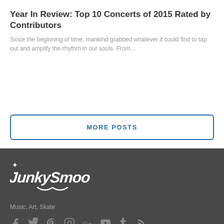Year In Review: Top 10 Concerts of 2015 Rated by Contributors
Since the beginning of time, mankind grabbed whatever it could find to tap out and amplify the rhythm in our souls.  From...
MORE POSTS
[Figure (logo): Junk Smooth graffiti-style logo in white on dark grey background]
Music, Art, Skate
[Figure (infographic): Social media icons: Facebook, Twitter, Pinterest, Instagram, Google+, YouTube, Tumblr, RSS feed — all in grey]